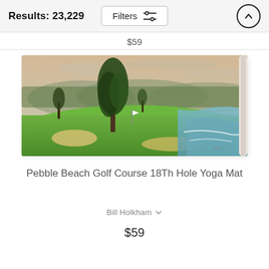Results: 23,229  Filters  ↑
$59
[Figure (illustration): Watercolor painting of Pebble Beach Golf Course 18th Hole with a large tree on the left, green fairway, sand bunkers, ocean/coastline on the right, and mountains in the background. A yoga mat product image with slightly rolled-up edge on the right.]
Pebble Beach Golf Course 18Th Hole Yoga Mat
Bill Holkham
$59